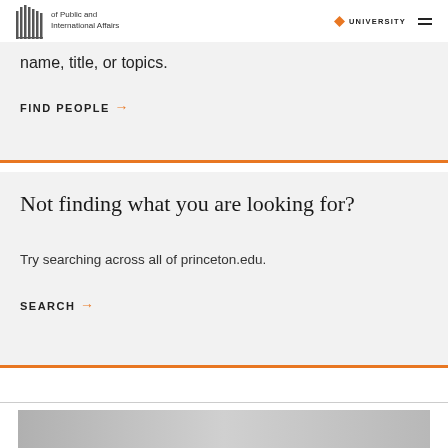School of Public and International Affairs | PRINCETON UNIVERSITY
name, title, or topics.
FIND PEOPLE →
Not finding what you are looking for?
Try searching across all of princeton.edu.
SEARCH →